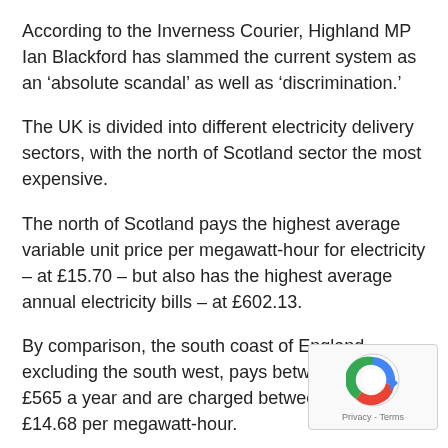According to the Inverness Courier, Highland MP Ian Blackford has slammed the current system as an ‘absolute scandal’ as well as ‘discrimination.’
The UK is divided into different electricity delivery sectors, with the north of Scotland sector the most expensive.
The north of Scotland pays the highest average variable unit price per megawatt-hour for electricity – at £15.70 – but also has the highest average annual electricity bills – at £602.13.
By comparison, the south coast of England, excluding the south west, pays between £556 and £565 a year and are charged between £14.29 and £14.68 per megawatt-hour.
The Highlands also has the third highest rate of fuel poverty in Scotland, with only Moray and the Western Isles faring worse.